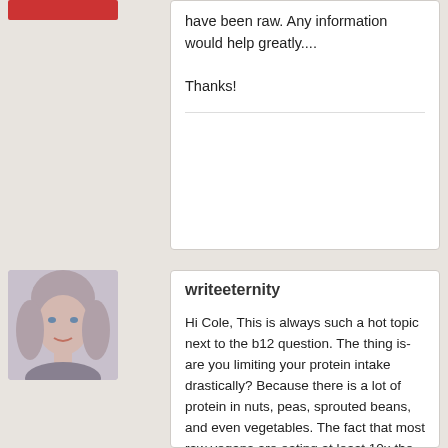have been raw. Any information would help greatly....

Thanks!
[Figure (photo): Profile photo of user writeeternity - a woman with blonde hair]
writeeternity
Hi Cole, This is always such a hot topic next to the b12 question. The thing is- are you limiting your protein intake drastically? Because there is a lot of protein in nuts, peas, sprouted beans, and even vegetables. The fact that most raw vegans are eating at least 10x the amount of vegetables as other people means we are getting 10x more protein (from vegetables). Personally, I shoot for 20 grams a day. Thats 3 cups of peas, or 3\4 of a cup of almonds used in a salad dressing, no oatmeal, or even a couple lemon cookies.

What I have heard is people who limit their fat intake lose their periods. SO this could be a marathon runner who's eating 50 to 100 grams of protein a day! What is more important to me is for a woman in particular to eat foods